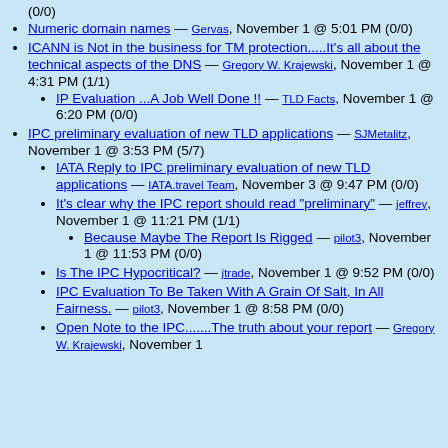(0/0)
Numeric domain names — Gervas, November 1 @ 5:01 PM (0/0)
ICANN is Not in the business for TM protection.....It's all about the technical aspects of the DNS — Gregory W. Krajewski, November 1 @ 4:31 PM (1/1)
IP Evaluation ...A Job Well Done !! — TLD Facts, November 1 @ 6:20 PM (0/0)
IPC preliminary evaluation of new TLD applications — SJMetalitz, November 1 @ 3:53 PM (5/7)
IATA Reply to IPC preliminary evaluation of new TLD applications — IATA.travel Team, November 3 @ 9:47 PM (0/0)
It's clear why the IPC report should read "preliminary" — jeffrey, November 1 @ 11:21 PM (1/1)
Because Maybe The Report Is Rigged — pilot3, November 1 @ 11:53 PM (0/0)
Is The IPC Hypocritical? — jtrade, November 1 @ 9:52 PM (0/0)
IPC Evaluation To Be Taken With A Grain Of Salt, In All Fairness. — pilot3, November 1 @ 8:58 PM (0/0)
Open Note to the IPC.......The truth about your report — Gregory W. Krajewski, November 1